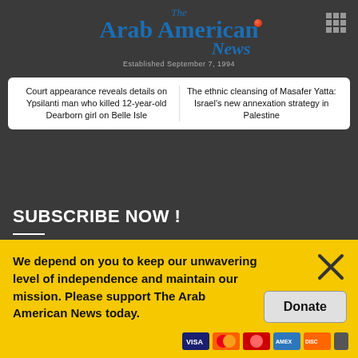[Figure (logo): The Arab American News logo with blue serif text and red dot, established September 7, 1994]
[Figure (other): Grid/menu icon (3x3 dots) in top right corner]
Court appearance reveals details on Ypsilanti man who killed 12-year-old Dearborn girl on Belle Isle
The ethnic cleansing of Masafer Yatta: Israel's new annexation strategy in Palestine
SUBSCRIBE NOW !
Name
We depend on you to keep our unwavering level of independence and maintain our mission. Please support The Arab American News today.
Donate